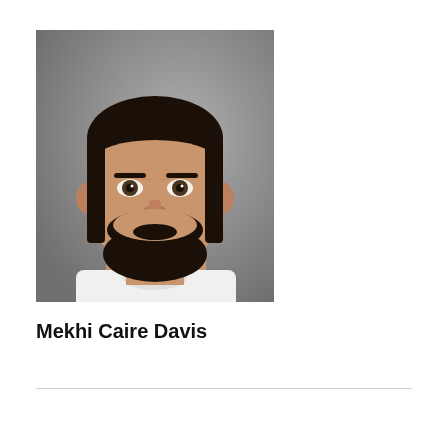[Figure (photo): Mugshot of a young man with short dark hair and a dark beard, wearing a white shirt, against a gray background]
Mekhi Caire Davis
Page 3 of 15